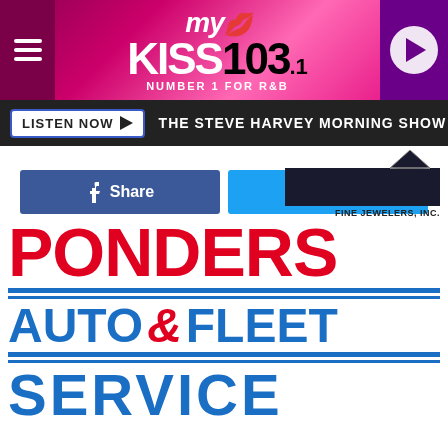[Figure (logo): My Kiss 103.1 Number 1 for R&B radio station logo with hamburger menu and play button]
[Figure (screenshot): Listen Now button with The Steve Harvey Morning Show text on dark bar]
[Figure (infographic): Facebook Share button (blue) and Twitter Tweet button (light blue)]
[Figure (logo): Fine Jewelers Inc. logo - dark navy bar with chevron/V mark above text FINE JEWELERS, INC.]
[Figure (logo): Ponders Auto & Fleet Service logo - red and blue letters]